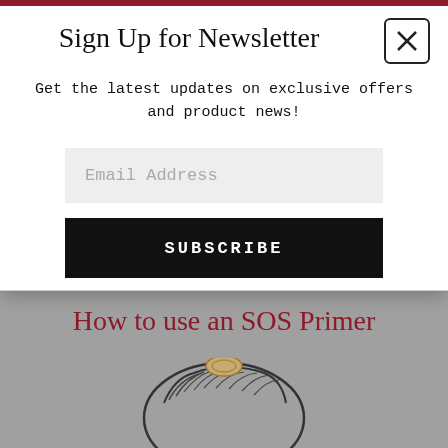[Figure (screenshot): Background page showing 'How to use an SOS Primer' article heading in dark red/maroon color on a gray background, with a partial illustration of a face/head below]
Sign Up for Newsletter
Get the latest updates on exclusive offers and product news!
Email Address
SUBSCRIBE